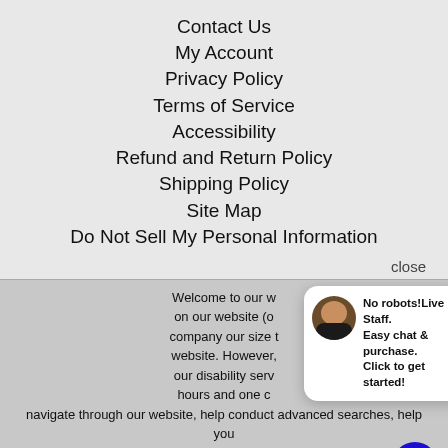Contact Us
My Account
Privacy Policy
Terms of Service
Accessibility
Refund and Return Policy
Shipping Policy
Site Map
Do Not Sell My Personal Information
close
Welcome to our w... on our website (o... company our size t... website. However,... our disability serv... hours and one c... navigate through our website, help conduct advanced searches, help you choose the item you are looking for with the specifications you are s... read you the specifications of any item and consult with you abo... products themselves. There is no charge for the help of this persona... for anyone with a disability. Finally, your personal shopper will explain our Privacy Policy and Terms of Service, and help you place an order if you so desire.
[Figure (screenshot): Live chat popup with staff photo avatar and text: No robots! Live Staff. Easy chat & purchase. Click to get started! With a blue chat FAB button.]